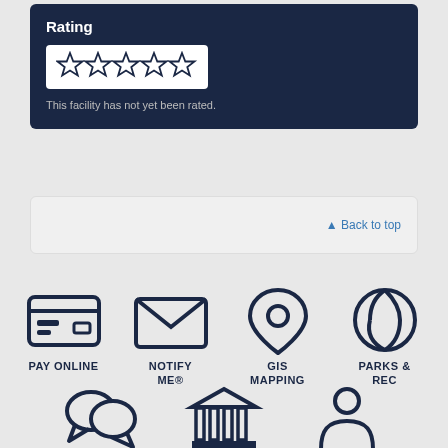Rating
[Figure (infographic): Five empty star rating icons in a white box]
This facility has not yet been rated.
▲ Back to top
[Figure (infographic): PAY ONLINE icon - credit card symbol]
[Figure (infographic): NOTIFY ME® icon - envelope/mail symbol]
[Figure (infographic): GIS MAPPING icon - map pin/location symbol]
[Figure (infographic): PARKS & REC icon - sports/activity circle symbol]
[Figure (infographic): Chat bubbles icon]
[Figure (infographic): Government building/institution icon]
[Figure (infographic): Person/user silhouette icon]